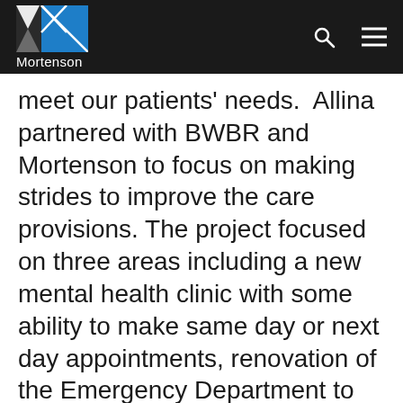Mortenson
meet our patients' needs.  Allina partnered with BWBR and Mortenson to focus on making strides to improve the care provisions. The project focused on three areas including a new mental health clinic with some ability to make same day or next day appointments, renovation of the Emergency Department to create a 20-bed mental health pod, and a 40-bed inpatient mental health unit.